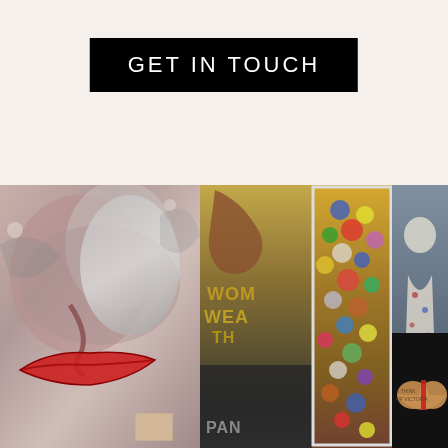GET IN TOUCH
[Figure (photo): A horizontal strip of four artwork paintings displayed side by side: (1) Abstract close-up of a face with swirling browns, greys and bold red lips with a small inset portrait below; (2) Gold and brown text-based artwork with partially visible words including 'WOMEN', 'WEALTH', 'PANIC' on a dark background; (3) A tall framed painting featuring colorful circular forms resembling marbles or flowers on a golden-brown background; (4) A figurative painting of a woman in a floral dress in a field, with a smaller heart-shaped wooden artwork below on black background.]